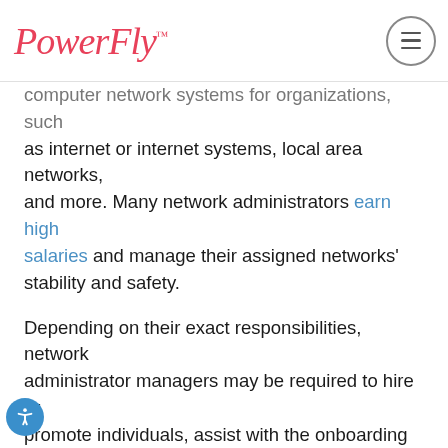PowerFly™
computer network systems for organizations, such as internet or internet systems, local area networks, and more. Many network administrators earn high salaries and manage their assigned networks' stability and safety.
Depending on their exact responsibilities, network administrator managers may be required to hire or promote individuals, assist with the onboarding process, and train new employees.
Network Administrator Jobs
Mobile App Developer
Like web developers, mobile app developers will also be in high demand in the future. That's because